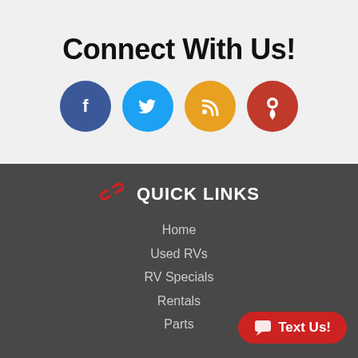Connect With Us!
[Figure (infographic): Four social media icon circles: Facebook (dark blue), Twitter (light blue), RSS (orange), Location/Map pin (red)]
QUICK LINKS
Home
Used RVs
RV Specials
Rentals
Parts
[Figure (other): Red pill-shaped button with chat bubble icon and text 'Text Us!']